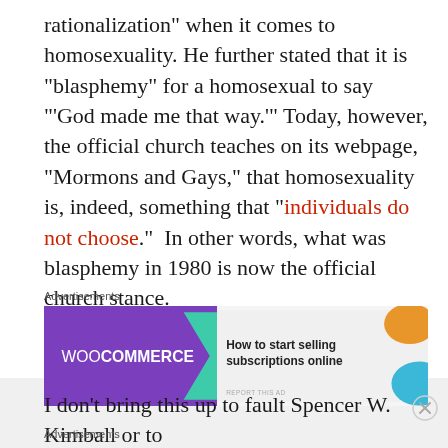rationalization” when it comes to homosexuality. He further stated that it is “blasphemy” for a homosexual to say “‘God made me that way.’” Today, however, the official church teaches on its webpage, “Mormons and Gays,” that homosexuality is, indeed, something that “individuals do not choose.”  In other words, what was blasphemy in 1980 is now the official church stance.
[Figure (other): WooCommerce advertisement banner: 'How to start selling subscriptions online']
I don’t bring this up to fault Spencer W. Kimball or to
Advertisements